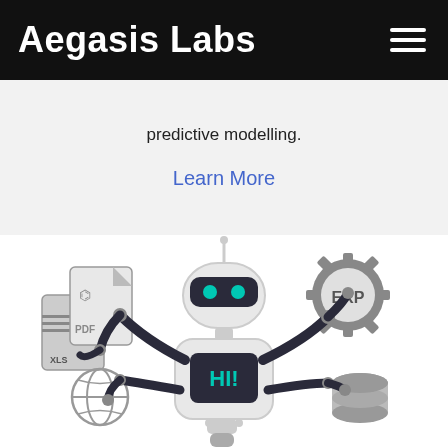Aegasis Labs
predictive modelling.
Learn More
[Figure (illustration): A robot with multiple arms holding PDF/XLS file icons, a globe icon, an ERP gear icon, and a database icon. The robot's chest displays 'HI!' in teal text.]